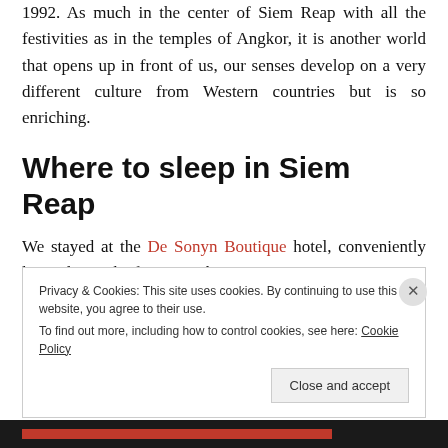1992. As much in the center of Siem Reap with all the festivities as in the temples of Angkor, it is another world that opens up in front of us, our senses develop on a very different culture from Western countries but is so enriching.
Where to sleep in Siem Reap
We stayed at the De Sonyn Boutique hotel, conveniently located near the famous Pub Street
Privacy & Cookies: This site uses cookies. By continuing to use this website, you agree to their use.
To find out more, including how to control cookies, see here: Cookie Policy